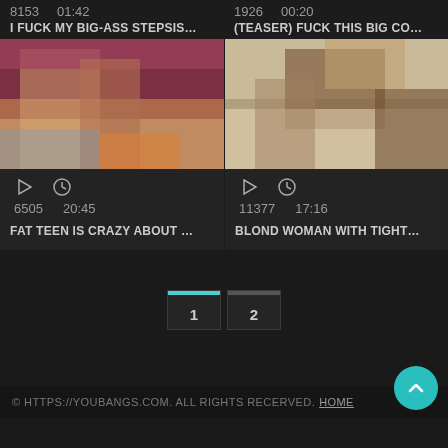8153  01:42
I FUCK MY BIG-ASS STEPSIS...
1926  00:20
(TEASER) FUCK THIS BIG CO...
[Figure (photo): Video thumbnail - blonde woman on bed]
6505  20:45
FAT TEEN IS CRAZY ABOUT ...
[Figure (photo): Video thumbnail - couple on bed]
11377  17:16
BLOND WOMAN WITH TIGHT...
1  2
© HTTPS://YOUBANGS.COM. ALL RIGHTS RECERVED. HOME